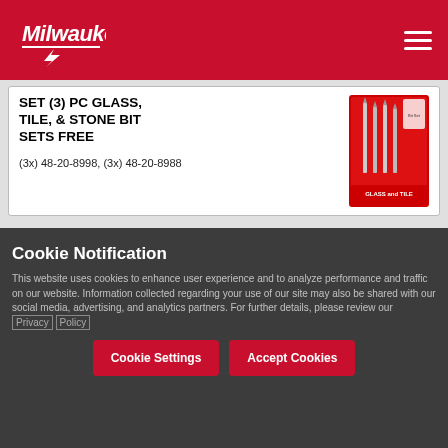[Figure (logo): Milwaukee Tool logo in white on red header background]
SET (3) PC GLASS, TILE, & STONE BIT SETS FREE
(3x) 48-20-8998, (3x) 48-20-8988
[Figure (photo): Milwaukee Glass and Tile drill bit set product image on red packaging]
Cookie Notification
This website uses cookies to enhance user experience and to analyze performance and traffic on our website. Information collected regarding your use of our site may also be shared with our social media, advertising, and analytics partners. For further details, please review our Privacy Policy
Cookie Settings
Accept Cookies